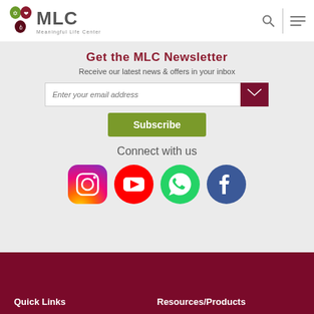MLC Meaningful Life Center
Get the MLC Newsletter
Receive our latest news & offers in your inbox
[Figure (screenshot): Email subscription form with text input and send button, Subscribe button below]
Connect with us
[Figure (infographic): Social media icons: Instagram, YouTube, WhatsApp, Facebook]
Quick Links | Resources/Products